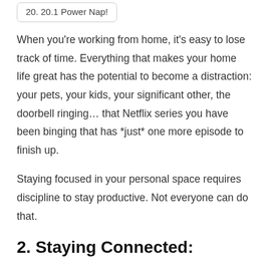20. 20.1 Power Nap!
When you're working from home, it's easy to lose track of time. Everything that makes your home life great has the potential to become a distraction: your pets, your kids, your significant other, the doorbell ringing… that Netflix series you have been binging that has *just* one more episode to finish up.
Staying focused in your personal space requires discipline to stay productive. Not everyone can do that.
2. Staying Connected:
It's nice to be able to stroll over to a coworker's desk and have a brief discussion about a business issue or have a quick coffee to work through a problem. There's also